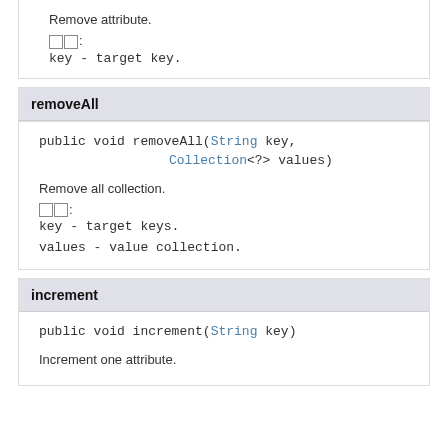Remove attribute.
参数:
key - target key.
removeAll
public void removeAll(String key, Collection<?> values)
Remove all collection.
参数:
key - target keys.
values - value collection.
increment
public void increment(String key)
Increment one attribute.